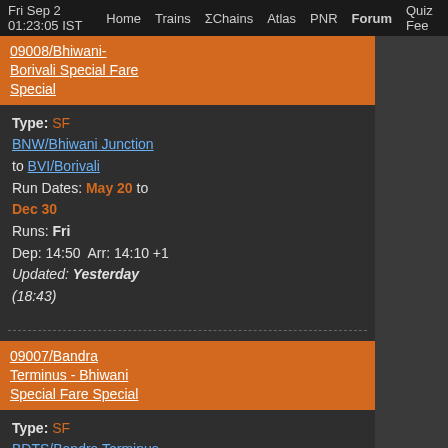Fri Sep 2 01:23:05 IST  Home  Trains  ΣChains  Atlas  PNR  Forum  Quiz Fee
09008/Bhiwani-Borivali Special Fare Special — Type: SF, BNW/Bhiwani Junction to BVI/Borivali, Run Dates: May 20 to Dec 30, Runs: Fri, Dep: 14:50  Arr: 14:10 +1, Updated: Yesterday (18:43)
09007/Bandra Terminus - Bhiwani Special Fare Special — Type: SF, BDTS/Bandra Terminus to BNW/Bhiwani Junction, Run Dates: May 19 to Dec 29, Runs: Thu, Dep: 11:15  Arr: 12:50 +1